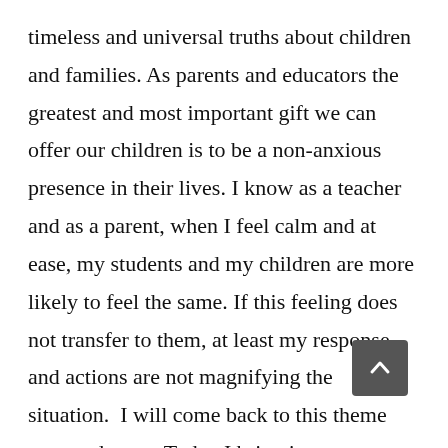timeless and universal truths about children and families. As parents and educators the greatest and most important gift we can offer our children is to be a non-anxious presence in their lives. I know as a teacher and as a parent, when I feel calm and at ease, my students and my children are more likely to feel the same. If this feeling does not transfer to them, at least my response and actions are not magnifying the situation.  I will come back to this theme over and over.  Today I bring it up as something to think about when asking:  what is this best school for my child?

The answer: when the teachers are smiling, waving